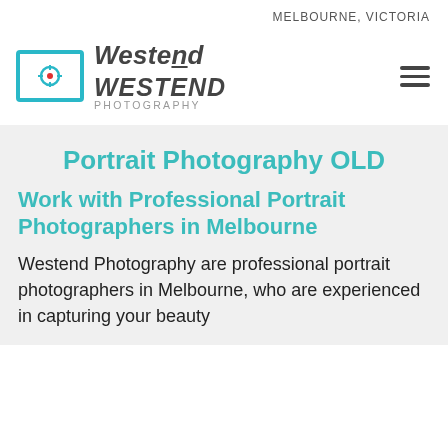MELBOURNE, VICTORIA
[Figure (logo): Westend Photography logo: a cyan/teal outlined rectangle with a red target/crosshair icon inside, next to the text 'WESTEND PHOTOGRAPHY' in bold italic and spaced letters]
Portrait Photography OLD
Work with Professional Portrait Photographers in Melbourne
Westend Photography are professional portrait photographers in Melbourne, who are experienced in capturing your beauty